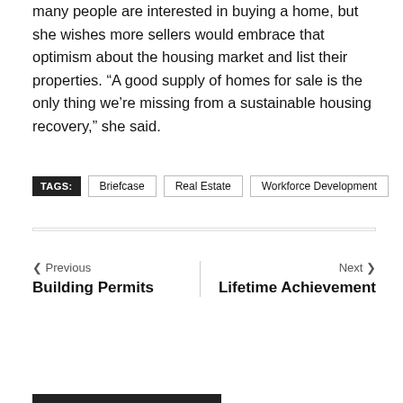many people are interested in buying a home, but she wishes more sellers would embrace that optimism about the housing market and list their properties. “A good supply of homes for sale is the only thing we’re missing from a sustainable housing recovery,” she said.
TAGS: Briefcase  Real Estate  Workforce Development
Previous Building Permits
Next Lifetime Achievement